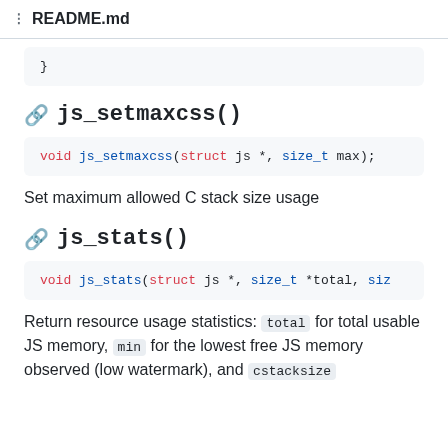≡  README.md
}
🔗 js_setmaxcss()
void js_setmaxcss(struct js *, size_t max);
Set maximum allowed C stack size usage
🔗 js_stats()
void js_stats(struct js *, size_t *total, siz
Return resource usage statistics: total for total usable JS memory, min for the lowest free JS memory observed (low watermark), and cstacksize